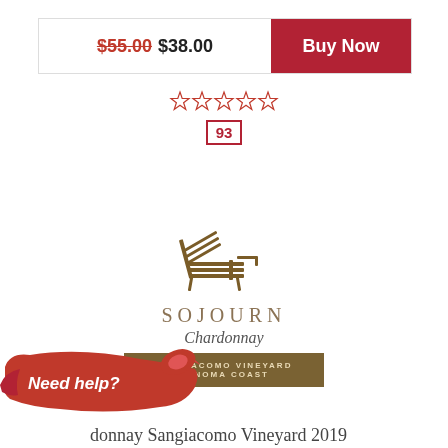$55.00 $38.00  Buy Now
[Figure (other): Star rating widget showing 5 empty/outline stars in red]
93
[Figure (illustration): Sojourn Cellars wine label showing a lounge chair illustration, SOJOURN text, Chardonnay in script, and brown vineyard bar reading SANGIACOMO VINEYARD SONOMA COAST]
[Figure (illustration): Red painted banner with white handwritten text reading 'Need help?']
donnay Sangiacomo Vineyard 2019